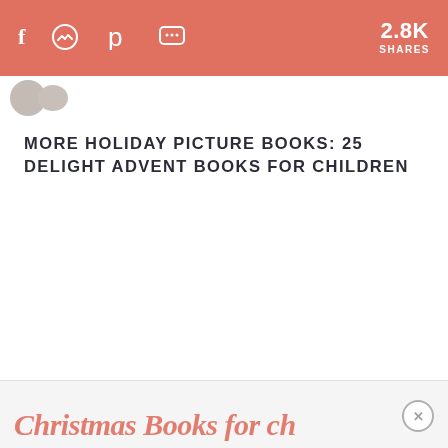f  [messenger]  p  [sms]  2.8K SHARES
MORE HOLIDAY PICTURE BOOKS: 25 DELIGHT ADVENT BOOKS FOR CHILDREN
Christmas Books for ch...